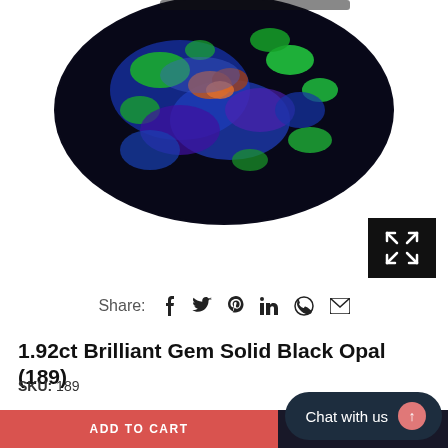[Figure (photo): Close-up photo of a black opal gemstone showing brilliant green, blue, and orange fire/play of color against a dark background]
[Figure (other): Dark square expand/fullscreen button with white X arrows icon, positioned at top-right of image]
Share:  f  𝕏  P  in  ⊕  ✉
1.92ct Brilliant Gem Solid Black Opal (189)
SKU: 189
$2,247.00
ADD TO CART
Chat with us